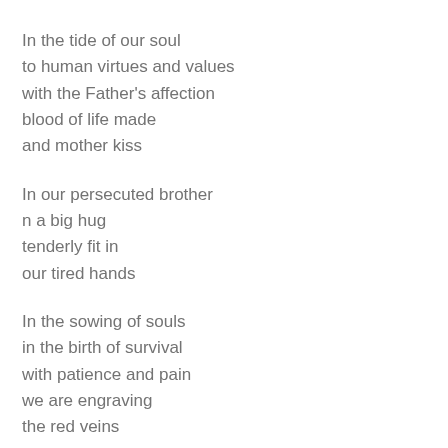In the tide of our soul
to human virtues and values
with the Father's affection
blood of life made
and mother kiss
In our persecuted brother
n a big hug
tenderly fit in
our tired hands
In the sowing of souls
in the birth of survival
with patience and pain
we are engraving
the red veins
Strange voices of love drunk
a thousand hopes and joys
in the foliage of the souls